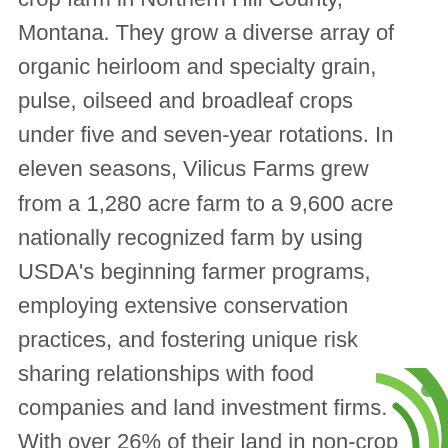crop farm in Northern Hill County, Montana. They grow a diverse array of organic heirloom and specialty grain, pulse, oilseed and broadleaf crops under five and seven-year rotations. In eleven seasons, Vilicus Farms grew from a 1,280 acre farm to a 9,600 acre nationally recognized farm by using USDA's beginning farmer programs, employing extensive conservation practices, and fostering unique risk sharing relationships with food companies and land investment firms. With over 26% of their land in non-crop conservation and 400 acres seeded to native pollinator habitat, Vilicus Farms
[Figure (logo): Partial green circular logo/icon in the bottom-right corner]